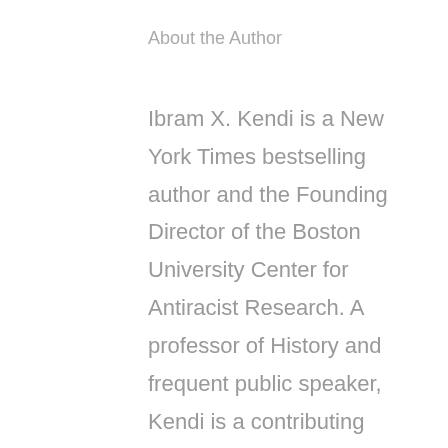About the Author
Ibram X. Kendi is a New York Times bestselling author and the Founding Director of the Boston University Center for Antiracist Research. A professor of History and frequent public speaker, Kendi is a contributing writer at The Atlantic. He is the author of Stamped from the Beginning: The Definitive History of Racist Ideas in America, which won the National Book Award for Nonfiction, The Black Campus Movement, which won the W.E.B. Du Bois